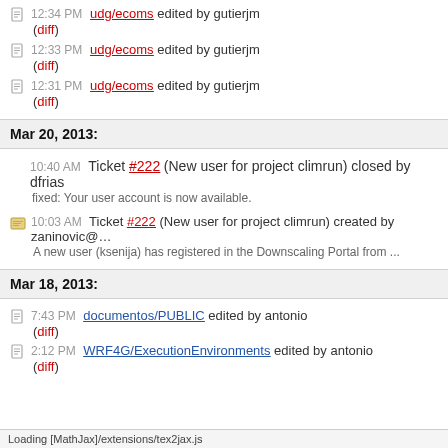12:34 PM udg/ecoms edited by gutierjm (diff)
12:33 PM udg/ecoms edited by gutierjm (diff)
12:31 PM udg/ecoms edited by gutierjm (diff)
Mar 20, 2013:
10:40 AM Ticket #222 (New user for project climrun) closed by dfrias
fixed: Your user account is now available.
10:03 AM Ticket #222 (New user for project climrun) created by zaninovic@…
A new user (ksenija) has registered in the Downscaling Portal from ...
Mar 18, 2013:
7:43 PM documentos/PUBLIC edited by antonio (diff)
2:12 PM WRF4G/ExecutionEnvironments edited by antonio (diff)
Loading [MathJax]/extensions/tex2jax.js